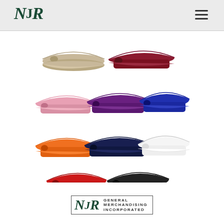NJR logo and navigation header
[Figure (photo): Collection of 9 sun visor caps in various colors: beige/khaki, dark red/maroon, pink, purple, navy blue (royal), orange, dark navy, white, red, and black. Arranged in a 2-3-3-2 grid pattern.]
[Figure (logo): NJR General Merchandising Incorporated logo with italic NJR monogram in dark green and company name in uppercase letters]